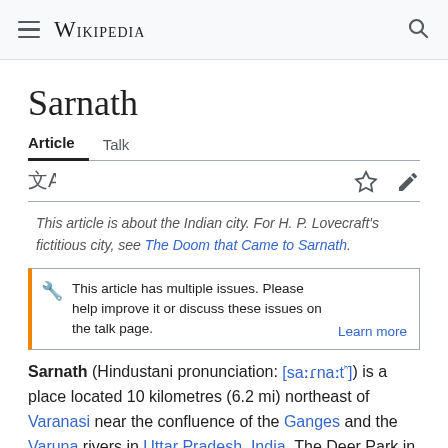Wikipedia
Sarnath
Article  Talk
This article is about the Indian city. For H. P. Lovecraft's fictitious city, see The Doom that Came to Sarnath.
This article has multiple issues. Please help improve it or discuss these issues on the talk page. Learn more
Sarnath (Hindustani pronunciation: [saːɾnaːtʰ]) is a place located 10 kilometres (6.2 mi) northeast of Varanasi near the confluence of the Ganges and the Varuna rivers in Uttar Pradesh, India. The Deer Park in Sarnath is where Gautama Buddha first taught the Dharma, and where the